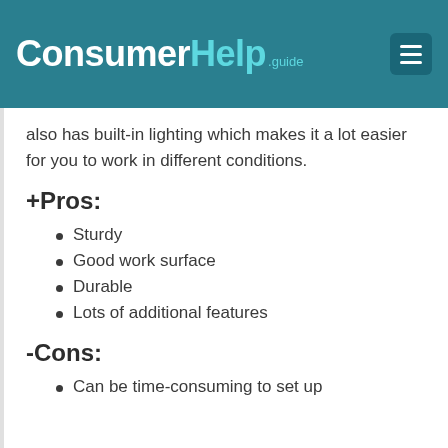ConsumerHelp.guide
also has built-in lighting which makes it a lot easier for you to work in different conditions.
+Pros:
Sturdy
Good work surface
Durable
Lots of additional features
-Cons:
Can be time-consuming to set up